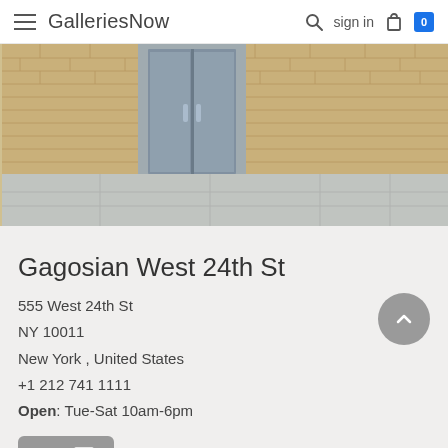GalleriesNow · sign in · 0
[Figure (photo): Exterior photo of Gagosian West 24th St gallery showing a tan/beige brick facade with glass double doors and a concrete sidewalk in the foreground.]
Gagosian West 24th St
555 West 24th St
NY 10011
New York , United States
+1 212 741 1111
Open: Tue-Sat 10am-6pm
Visit